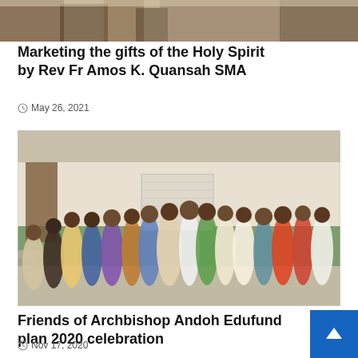[Figure (photo): Top portion of a group photo, partially cropped at top of page]
Marketing the gifts of the Holy Spirit by Rev Fr Amos K. Quansah SMA
May 26, 2021
[Figure (photo): Group photo of approximately 25 people standing together indoors in front of a green and white wall]
Friends of Archbishop Andoh Edufund plan 2020 celebration
Nov 17, 2020